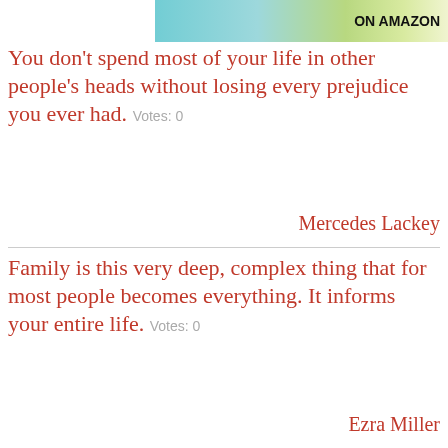[Figure (infographic): Ad banner at top showing Amazon advertisement with teal/green background and bold 'ON AMAZON' text]
You don't spend most of your life in other people's heads without losing every prejudice you ever had.  Votes: 0
Mercedes Lackey
Family is this very deep, complex thing that for most people becomes everything. It informs your entire life.  Votes: 0
Ezra Miller
Trust your journey, trust the process, raise your energy and the right people will come your life  Votes: 0
[Figure (infographic): Yellow ad banner: '37 GENIUS AMAZON PRODUCTS THAT CAN BE USED BY ANYONE' with product bottle image and blue badge showing '22']
Steven Aitchison
You don't achieve greatness in life being